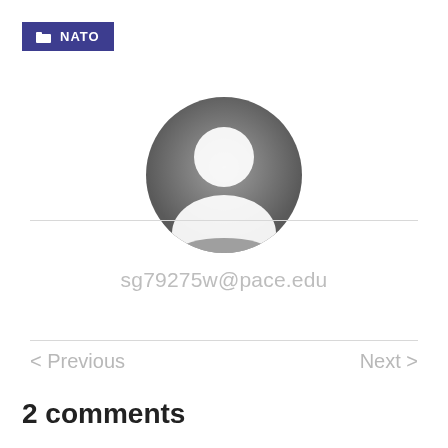NATO
[Figure (illustration): Generic user avatar: circular gray silhouette with white head and shoulders on a gray gradient background]
sg79275w@pace.edu
< Previous
Next >
2 comments